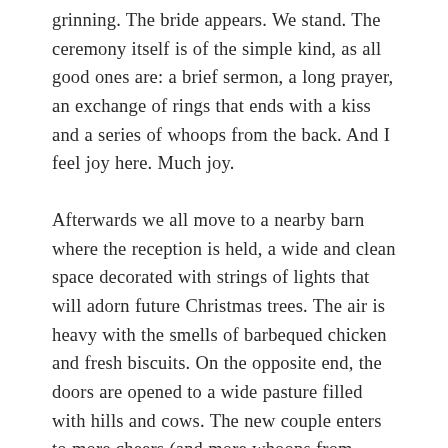grinning. The bride appears. We stand. The ceremony itself is of the simple kind, as all good ones are: a brief sermon, a long prayer, an exchange of rings that ends with a kiss and a series of whoops from the back. And I feel joy here. Much joy.
Afterwards we all move to a nearby barn where the reception is held, a wide and clean space decorated with strings of lights that will adorn future Christmas trees. The air is heavy with the smells of barbequed chicken and fresh biscuits. On the opposite end, the doors are opened to a wide pasture filled with hills and cows. The new couple enters to more cheers (and more whoops from those thinking of the wedding night). Farmers talk. Children play. Women—quite a few—gather in the center of the barn. They hike their dresses and kick away their shoes, high-stepping as